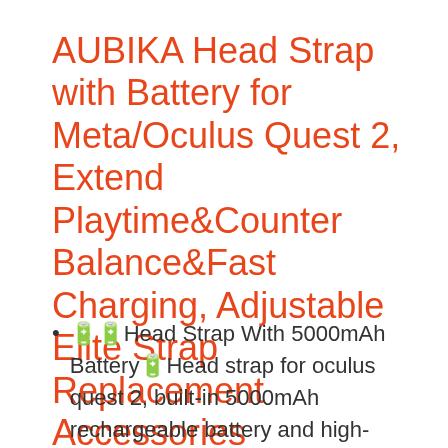AUBIKA Head Strap with Battery for Meta/Oculus Quest 2, Extend Playtime&Counter Balance&Fast Charging, Adjustable Elite Strap Replacement Accessories
🔋🔋Head Strap With 5000mAh Battery🔋Head strap for oculus quest 2, built-in 5000mAh rechargeable battery and high-speed cable,